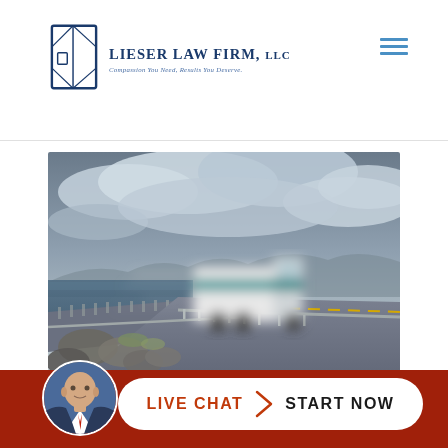[Figure (logo): Lieser Law Firm LLC logo with diamond-shaped icon and text 'Lieser Law Firm, LLC' and tagline 'Compassion You Need, Results You Deserve']
[Figure (photo): A large white semi-truck speeding across a bridge over water with dramatic cloudy sky, motion blur effect, scenic coastal road]
[Figure (photo): Circular avatar photo of a bald man in a suit, used as live chat button avatar]
LIVE CHAT > START NOW